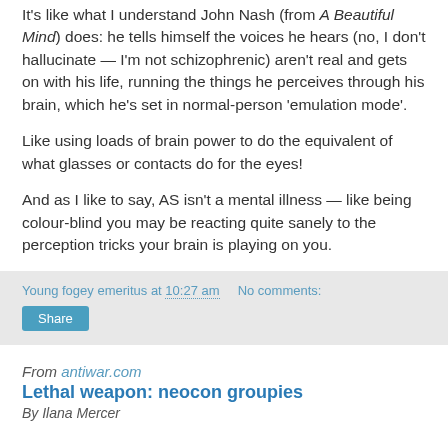It's like what I understand John Nash (from A Beautiful Mind) does: he tells himself the voices he hears (no, I don't hallucinate — I'm not schizophrenic) aren't real and gets on with his life, running the things he perceives through his brain, which he's set in normal-person 'emulation mode'.
Like using loads of brain power to do the equivalent of what glasses or contacts do for the eyes!
And as I like to say, AS isn't a mental illness — like being colour-blind you may be reacting quite sanely to the perception tricks your brain is playing on you.
Young fogey emeritus at 10:27 am   No comments:
Share
From antiwar.com
Lethal weapon: neocon groupies
By Ilana Mercer